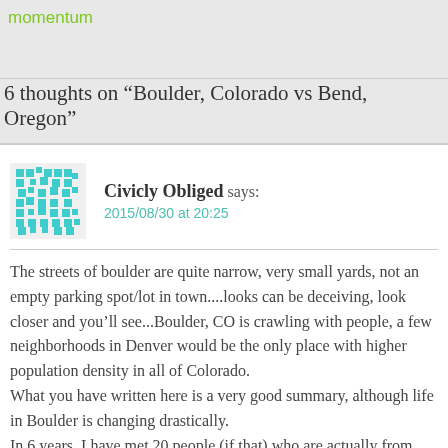momentum
6 thoughts on “Boulder, Colorado vs Bend, Oregon”
[Figure (illustration): Pixelated/blocky cyan avatar icon for commenter Civicly Obliged]
Civicly Obliged says:
2015/08/30 at 20:25
The streets of boulder are quite narrow, very small yards, not an empty parking spot/lot in town....looks can be deceiving, look closer and you’ll see...Boulder, CO is crawling with people, a few neighborhoods in Denver would be the only place with higher population density in all of Colorado.
What you have written here is a very good summary, although life in Boulder is changing drastically.
In 6 years, I have met 20 people (if that) who are actually from Boulder.
If you love people from Jersey, suburban California